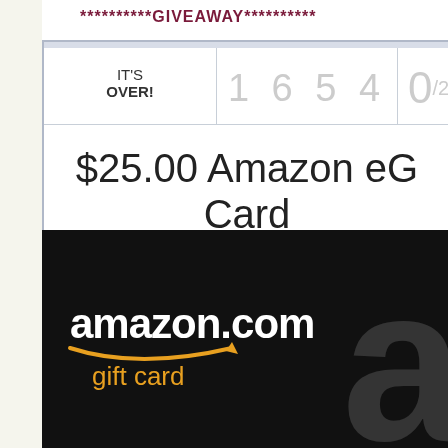**********GIVEAWAY**********
| Status | Count | Ratio |
| --- | --- | --- |
| IT'S OVER! | 1 6 5 4 | 0/20 |
$25.00 Amazon eGift Card
[Figure (photo): Amazon.com gift card on black background with large 'a' logo watermark]